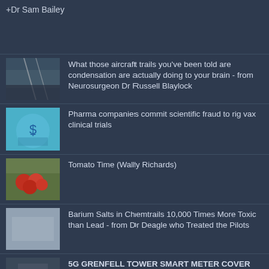+Dr Sam Bailey
What those aircraft trails you've been told are condensation are actually doing to your brain - from Neurosurgeon Dr Russell Blaylock
Pharma companies commit scientific fraud to rig vax clinical trials
Tomato Time (Wally Richards)
Barium Salts in Chemtrails 10,000 Times More Toxic than Lead - from Dr Deagle who Treated the Pilots
5G GRENFELL TOWER SMART METER COVER UP - WAKE UP
Robert Deutsch: Large Rain Event Planned For Australia & New Zealand This Week